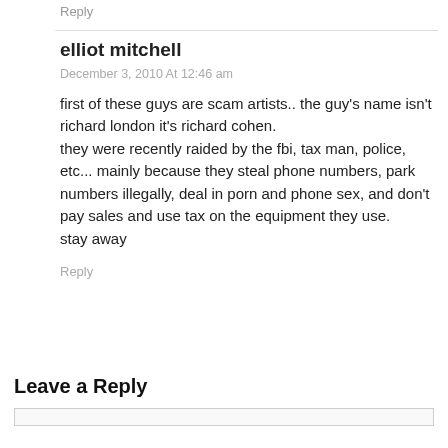Reply
elliot mitchell
December 3, 2010 At 12:46 am
first of these guys are scam artists.. the guy's name isn't richard london it's richard cohen.
they were recently raided by the fbi, tax man, police, etc... mainly because they steal phone numbers, park numbers illegally, deal in porn and phone sex, and don't pay sales and use tax on the equipment they use.
stay away
Reply
Leave a Reply